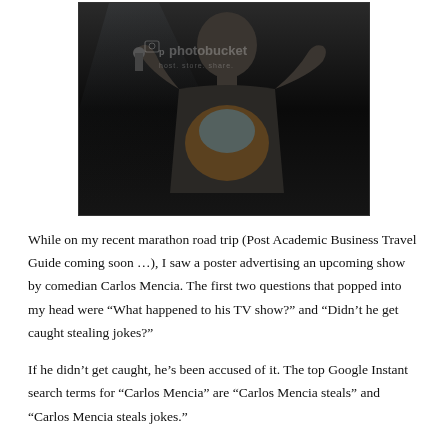[Figure (photo): A performer on stage holding a microphone, wearing a Hard Rock t-shirt, performing in dark stage lighting. Photobucket watermark visible.]
While on my recent marathon road trip (Post Academic Business Travel Guide coming soon …), I saw a poster advertising an upcoming show by comedian Carlos Mencia. The first two questions that popped into my head were “What happened to his TV show?” and “Didn’t he get caught stealing jokes?”
If he didn’t get caught, he’s been accused of it. The top Google Instant search terms for “Carlos Mencia” are “Carlos Mencia steals” and “Carlos Mencia steals jokes.”